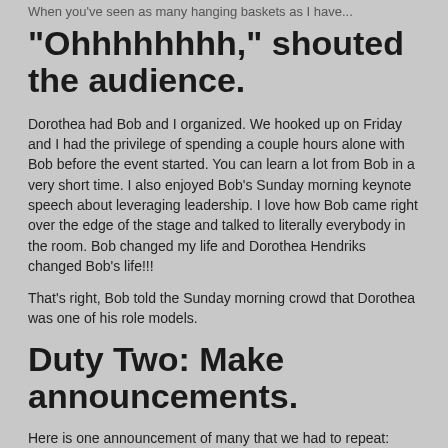When you've seen as many hanging baskets as I have...
“Ohhhhhhhh,” shouted the audience.
Dorothea had Bob and I organized. We hooked up on Friday and I had the privilege of spending a couple hours alone with Bob before the event started. You can learn a lot from Bob in a very short time. I also enjoyed Bob’s Sunday morning keynote speech about leveraging leadership. I love how Bob came right over the edge of the stage and talked to literally everybody in the room. Bob changed my life and Dorothea Hendriks changed Bob’s life!!!
That’s right, Bob told the Sunday morning crowd that Dorothea was one of his role models.
Duty Two: Make announcements.
Here is one announcement of many that we had to repeat: speech contestants have mic check at 6:15am in the ballroom.